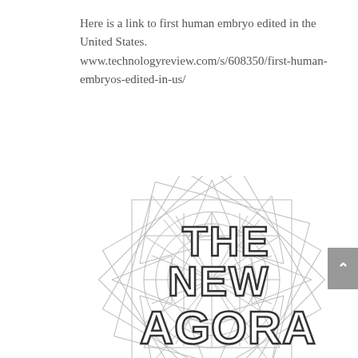Here is a link to first human embryo edited in the United States.
www.technologyreview.com/s/608350/first-human-embryos-edited-in-us/
[Figure (logo): The New Agora logo — decorative mandala/starburst geometric pattern in grey outline with bold text reading 'THE NEW AGORA' overlaid]